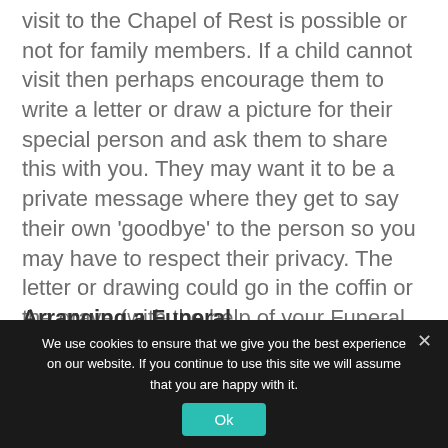visit to the Chapel of Rest is possible or not for family members. If a child cannot visit then perhaps encourage them to write a letter or draw a picture for their special person and ask them to share this with you. They may want it to be a private message where they get to say their own 'goodbye' to the person so you may have to respect their privacy. The letter or drawing could go in the coffin or the grave (with the help of your Funeral Director) or another special place e.g. a memory box.
Arranging a Funeral
We use cookies to ensure that we give you the best experience on our website. If you continue to use this site we will assume that you are happy with it.